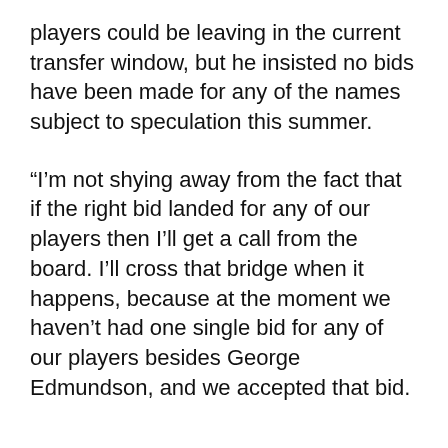players could be leaving in the current transfer window, but he insisted no bids have been made for any of the names subject to speculation this summer.
“I’m not shying away from the fact that if the right bid landed for any of our players then I’ll get a call from the board. I’ll cross that bridge when it happens, because at the moment we haven’t had one single bid for any of our players besides George Edmundson, and we accepted that bid.